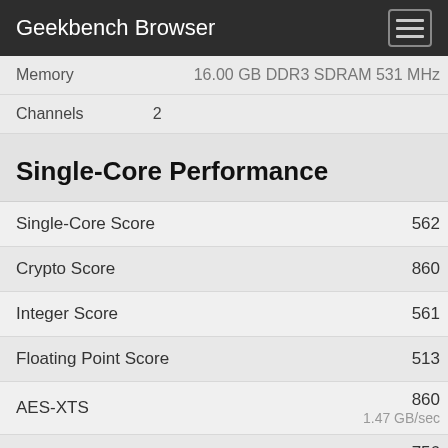Geekbench Browser
| Property | Value |
| --- | --- |
| Memory | 16.00 GB DDR3 SDRAM 531 MHz |
| Channels | 2 |
Single-Core Performance
| Metric | Score |
| --- | --- |
| Single-Core Score | 562 |
| Crypto Score | 860 |
| Integer Score | 561 |
| Floating Point Score | 513 |
| AES-XTS | 860
1.47 GB/sec |
| Text Compression | 756
3.82 MB/sec |